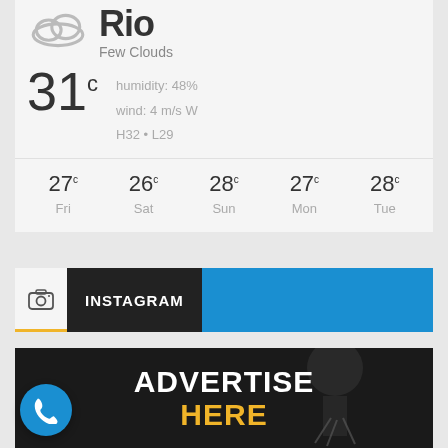Rio
Few Clouds
31°C
humidity: 48%
wind: 4 m/s W
H32 • L29
| Fri | Sat | Sun | Mon | Tue |
| --- | --- | --- | --- | --- |
| 27°C | 26°C | 28°C | 27°C | 28°C |
[Figure (screenshot): Instagram widget bar with camera icon and blue background]
[Figure (photo): Advertise Here banner with dark background and microphone figure]
[Figure (other): Blue circular call/phone button]